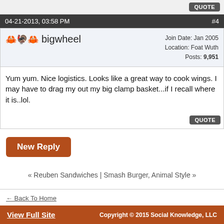QUOTE
04-21-2013, 03:58 PM  #4
bigwheel  Join Date: Jan 2005  Location: Foat Wuth  Posts: 9,951
Yum yum. Nice logistics. Looks like a great way to cook wings. I may have to drag my out my big clamp basket...if I recall where it is..lol.
QUOTE
New Reply
« Reuben Sandwiches | Smash Burger, Animal Style »
← Back To Home
View Full Site  Copyright © 2015 Social Knowledge, LLC